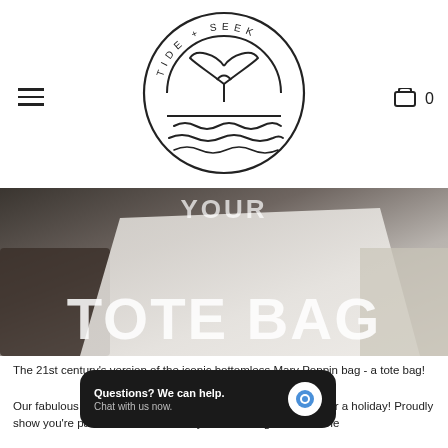Tide + Seek — navigation header with hamburger menu, logo, and cart icon (0 items)
[Figure (logo): Tide + Seek circular logo with whale tail and waves]
[Figure (photo): Banner photo showing a tote bag on sand with large overlaid text reading TOTE BAG]
The 21st century's version of the iconic bottomless Mary Poppin bag - a tote bag!
Our fabulous 'SUSTAINABLE LOOKS GOOD ON YOU' tote bag is an every day bag, not just for a holiday! Proudly show you're passion for sustainability with our slogan across the